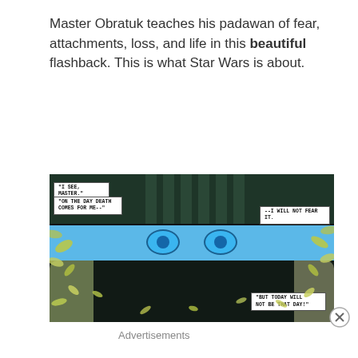Master Obratuk teaches his padawan of fear, attachments, loss, and life in this beautiful flashback. This is what Star Wars is about.
[Figure (illustration): Comic book panel showing a dark scene with a figure behind bars at the top, blue panel with glowing eyes in the middle, and a dark panel with a web/spiral design at the bottom. Speech boxes read: 'I SEE, MASTER.', 'ON THE DAY DEATH COMES FOR ME--', '--I WILL NOT FEAR IT.', 'BUT TODAY WILL NOT BE THAT DAY!' Decorative leaves and creature tentacles surround the panels.]
Advertisements